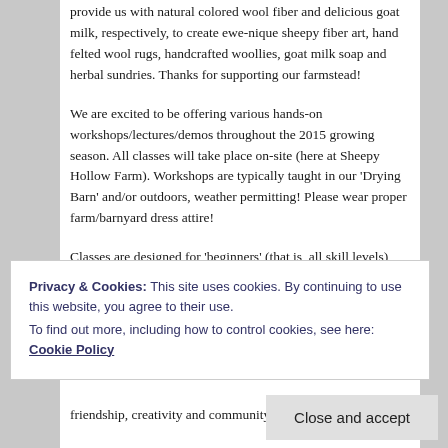provide us with natural colored wool fiber and delicious goat milk, respectively, to create ewe-nique sheepy fiber art, hand felted wool rugs, handcrafted woollies, goat milk soap and herbal sundries. Thanks for supporting our farmstead!
We are excited to be offering various hands-on workshops/lectures/demos throughout the 2015 growing season. All classes will take place on-site (here at Sheepy Hollow Farm). Workshops are typically taught in our 'Drying Barn' and/or outdoors, weather permitting! Please wear proper farm/barnyard dress attire!
Classes are designed for 'beginners' (that is, all skill levels) and will teach fundamental process and concepts.
Privacy & Cookies: This site uses cookies. By continuing to use this website, you agree to their use.
To find out more, including how to control cookies, see here: Cookie Policy
Close and accept
friendship, creativity and community!